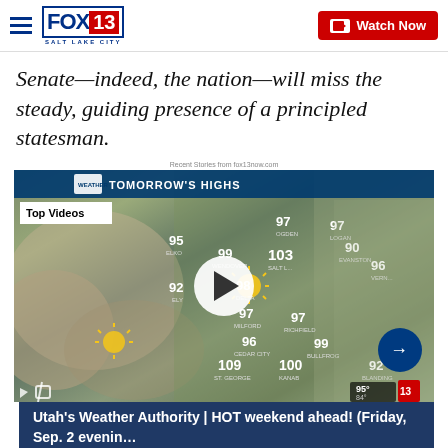FOX 13 SALT LAKE CITY — Watch Now
Senate—indeed, the nation—will miss the steady, guiding presence of a principled statesman.
Recent Stories from fox13now.com
[Figure (screenshot): Weather forecast video thumbnail showing Tomorrow's Highs map for Utah/surrounding states with temperatures including 109 (St. George), 100 (Kanab), 99 (Bullfrog), 97 (Logan), 97 (Medford), 97 (Richfield), 96 (Cedar City), 96 (Vernal), 95 (Elko), 99 (Wendover), 103 (Salt Lake), 98 (Delta), 92 (Ely), 92 (Blanding), 90 (Evanston). A meteorologist stands to the right. Top Videos badge visible. Play button in center.]
Utah's Weather Authority | HOT weekend ahead! (Friday, Sep. 2 evenin…